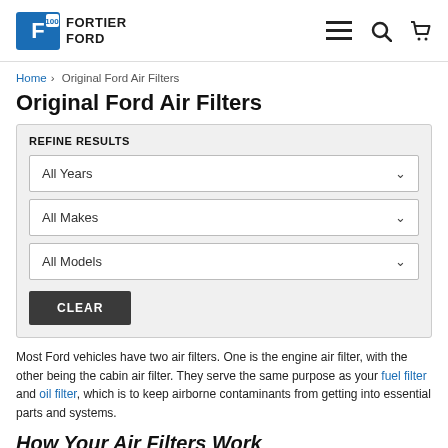Fortier Ford — navigation header with logo, hamburger menu, search, and cart icons
Home > Original Ford Air Filters
Original Ford Air Filters
REFINE RESULTS — All Years, All Makes, All Models dropdowns — CLEAR button
Most Ford vehicles have two air filters. One is the engine air filter, with the other being the cabin air filter. They serve the same purpose as your fuel filter and oil filter, which is to keep airborne contaminants from getting into essential parts and systems.
How Your Air Filters Work